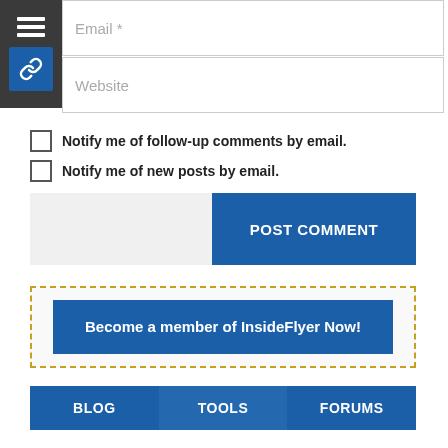[Figure (screenshot): Email input field placeholder text]
[Figure (screenshot): Website input field placeholder text]
Notify me of follow-up comments by email.
Notify me of new posts by email.
POST COMMENT
Become a member of InsideFlyer Now!
BLOG  TOOLS  FORUMS
TRAVEL DEALS